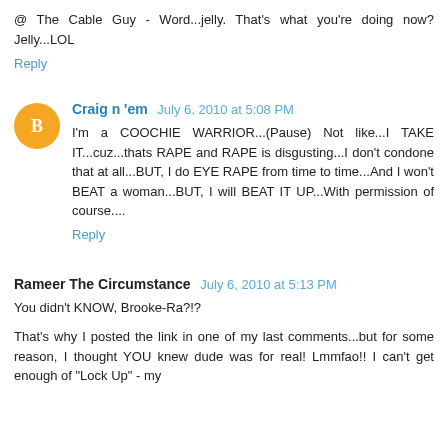@ The Cable Guy - Word...jelly. That's what you're doing now? Jelly...LOL
Reply
Craig n 'em  July 6, 2010 at 5:08 PM
I'm a COOCHIE WARRIOR...(Pause) Not like...I TAKE IT...cuz...thats RAPE and RAPE is disgusting...I don't condone that at all...BUT, I do EYE RAPE from time to time...And I won't BEAT a woman...BUT, I will BEAT IT UP...With permission of course....
Reply
Rameer The Circumstance  July 6, 2010 at 5:13 PM
You didn't KNOW, Brooke-Ra?!?
That's why I posted the link in one of my last comments...but for some reason, I thought YOU knew dude was for real! Lmmfao!! I can't get enough of "Lock Up" - my